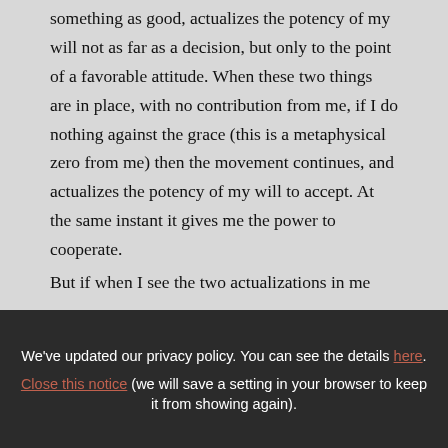something as good, actualizes the potency of my will not as far as a decision, but only to the point of a favorable attitude. When these two things are in place, with no contribution from me, if I do nothing against the grace (this is a metaphysical zero from me) then the movement continues, and actualizes the potency of my will to accept. At the same instant it gives me the power to cooperate.

But if when I see the two actualizations in me
We've updated our privacy policy. You can see the details here. Close this notice (we will save a setting in your browser to keep it from showing again).